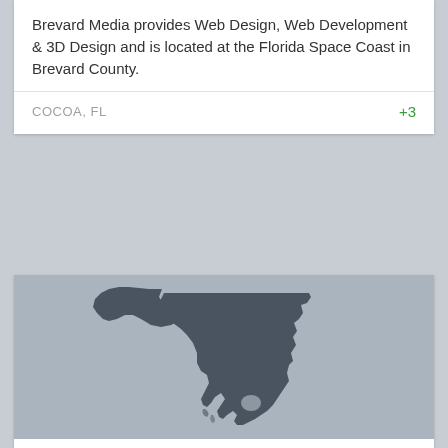Brevard Media provides Web Design, Web Development & 3D Design and is located at the Florida Space Coast in Brevard County.
COCOA, FL +3
[Figure (map): Silhouette map of the state of Florida shown in dark gray on a light gray background.]
In Office Teeth Whitening
Getting a beautiful white smile in a fast, safe and customized way is now very much possible with our in